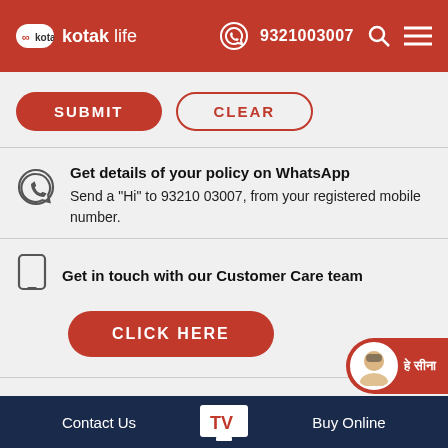kotak life | 9321003007
SUBMIT | CLEAR
Get details of your policy on WhatsApp
Send a "Hi" to 93210 03007, from your registered mobile number.
Get in touch with our Customer Care team
CLICK HERE
Contact Us | TV | Buy Online